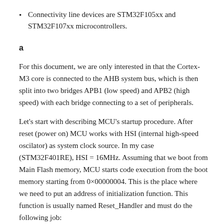Connectivity line devices are STM32F105xx and STM32F107xx microcontrollers.
a
For this document, we are only interested in that the Cortex-M3 core is connected to the AHB system bus, which is then split into two bridges APB1 (low speed) and APB2 (high speed) with each bridge connecting to a set of peripherals.
Let’s start with describing MCU’s startup procedure. After reset (power on) MCU works with HSI (internal high-speed oscilator) as system clock source. In my case (STM32F401RE), HSI = 16MHz. Assuming that we boot from Main Flash memory, MCU starts code execution from the boot memory starting from 0×00000004. This is the place where we need to put an address of initialization function. This function is usually named Reset_Handler and must do the following job: